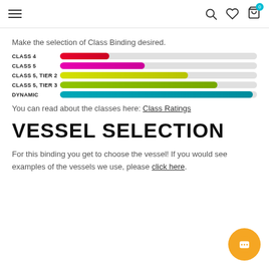Navigation header with hamburger menu, search, wishlist, and cart icons
Make the selection of Class Binding desired.
[Figure (bar-chart): Class Binding Selection]
You can read about the classes here: Class Ratings
VESSEL SELECTION
For this binding you get to choose the vessel! If you would see examples of the vessels we use, please click here.